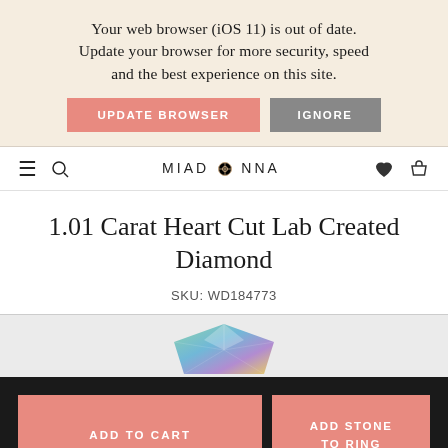Your web browser (iOS 11) is out of date. Update your browser for more security, speed and the best experience on this site.
UPDATE BROWSER
IGNORE
MIADONNA
1.01 Carat Heart Cut Lab Created Diamond
SKU: WD184773
[Figure (photo): Partial view of a heart cut lab created diamond stone]
ADD TO CART
ADD STONE TO RING